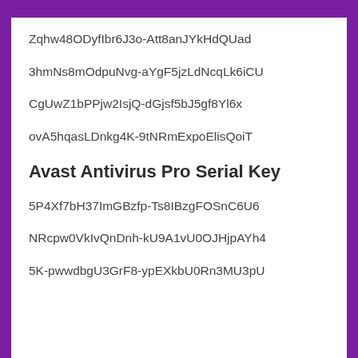Zqhw48ODyfIbr6J3o-Att8anJYkHdQUad
3hmNs8mOdpuNvg-aYgF5jzLdNcqLk6iCU
CgUwZ1bPPjw2IsjQ-dGjsf5bJ5gf8Yl6x
ovA5hqasLDnkg4K-9tNRmExpoElisQoiT
Avast Antivirus Pro Serial Key
5P4Xf7bH37ImGBzfp-Ts8IBzgFOSnC6U6
NRcpw0VkIvQnDnh-kU9A1vU0OJHjpAYh4
5K-pwwdbgU3GrF8-ypEXkbU0Rn3MU3pU